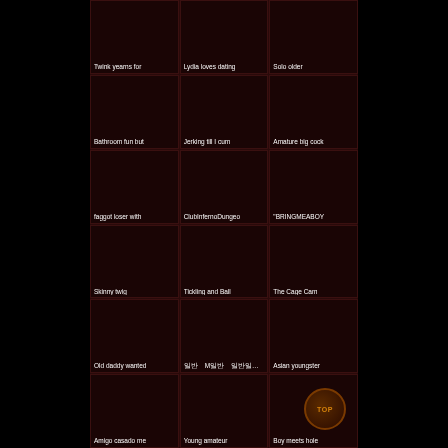[Figure (screenshot): Grid of video thumbnails with titles on dark background. Row 1 (partial): 'Twink yearns for', 'Lydia loves dating', 'Solo older'. Row 2: 'Bathroom fun but', 'Jerking till I cum', 'Amature big cock'. Row 3: 'faggot loser with', 'ClubInfernoDungeo', '"BRINGMEABOY'. Row 4: 'Skinny twig', 'Tickling and Ball', 'The Cage Cam'. Row 5: 'Old daddy wanted', foreign text 'M... ...', 'Asian youngster'. Row 6 (partial): 'Amigo casado me', 'Young amateur', 'Boy meets hole'. TOP button in bottom right.]